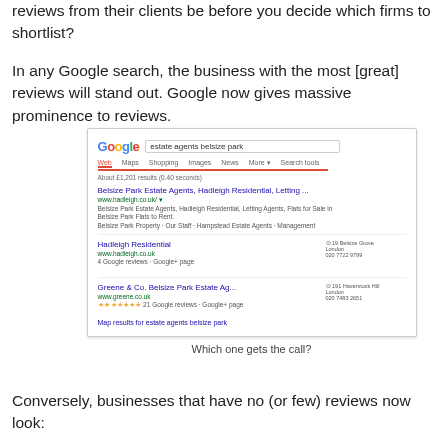reviews from their clients be before you decide which firms to shortlist?
In any Google search, the business with the most [great] reviews will stand out. Google now gives massive prominence to reviews.
[Figure (screenshot): Screenshot of a Google search results page for 'estate agents belsize park' showing two local business listings: Hadleigh Residential (4 Google reviews, Google+ page) and Greene & Co. Belsize Park Estate Ag... (21 Google reviews, Google+ page with star ratings). Also shows a map results link at the bottom.]
Which one gets the call?
Conversely, businesses that have no (or few) reviews now look: